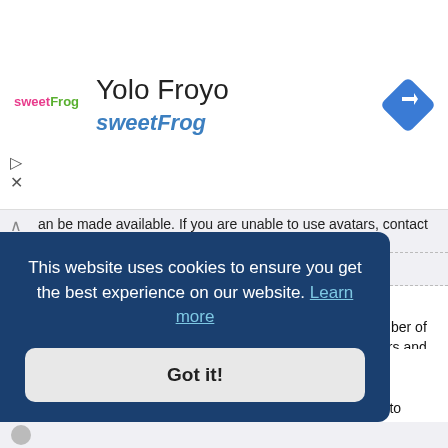[Figure (logo): sweetFrog logo with pink and green lettering]
Yolo Froyo
sweetFrog
[Figure (illustration): Blue diamond navigation arrow icon]
an be made available. If you are unable to use avatars, contact a board administrator.
Top
What is my rank and how do I change it?
Ranks, which appear below your username, indicate the number of posts you have made or identify certain users, e.g. moderators and administrators. In general, you cannot directly change the wording of any board ranks as they are set by the board administrator. Please do not abuse the board by posting unnecessarily just to increase your rank. Most boards will not tolerate this and
This website uses cookies to ensure you get the best experience on our website. Learn more
Got it!
ail form,
t